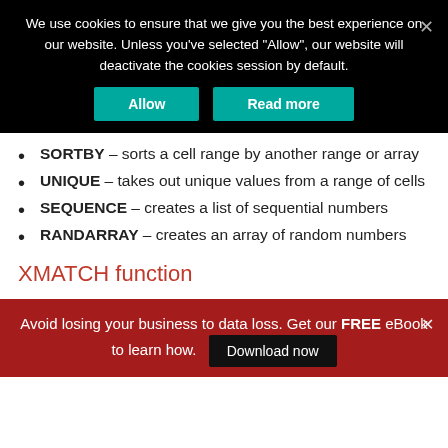We use cookies to ensure that we give you the best experience on our website. Unless you've selected "Allow", our website will deactivate the cookies session by default.
SORTBY – sorts a cell range by another range or array
UNIQUE – takes out unique values from a range of cells
SEQUENCE – creates a list of sequential numbers
RANDARRAY – creates an array of random numbers
XMATCH function
Avoid losing your business to data loss. Get our FREE eBook to learn how. Download now